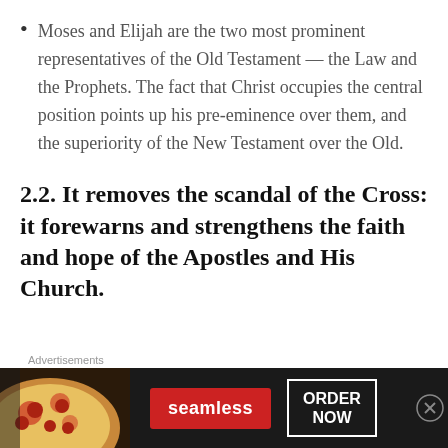Moses and Elijah are the two most prominent representatives of the Old Testament — the Law and the Prophets. The fact that Christ occupies the central position points up his pre-eminence over them, and the superiority of the New Testament over the Old.
2.2. It removes the scandal of the Cross: it forewarns and strengthens the faith and hope of the Apostles and His Church.
[Figure (other): Advertisement banner for Seamless food delivery. Shows pizza image on left, red Seamless logo button in center, and ORDER NOW button outlined in white on dark background.]